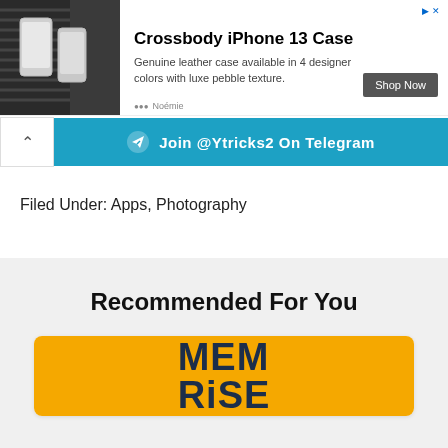[Figure (screenshot): Advertisement banner for Crossbody iPhone 13 Case by Noémie. Shows product image on left, title, description text, and Shop Now button.]
[Figure (screenshot): Telegram join button: Join @Ytricks2 On Telegram with arrow/collapse button on left]
Filed Under: Apps, Photography
Recommended For You
[Figure (logo): Memrise logo on yellow background showing MEM RISE text in dark navy bold letters]